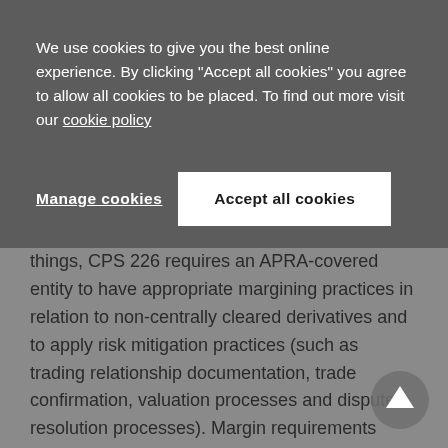We use cookies to give you the best online experience. By clicking "Accept all cookies" you agree to allow all cookies to be placed. To find out more visit our cookie policy
Manage cookies | Accept all cookies
things, CPS 226 requires an APRA-covered entity to have appropriate margining practices in relation to non-centrally cleared derivatives and to apply risk mitigation practices (such as trading relationship documentation, trade confirmation, valuation processes and dispute resolution processes). Margin requirements apply from differing periods from 1 March 2017 onwards, depending on an entity's qualifying level under CPS 226.